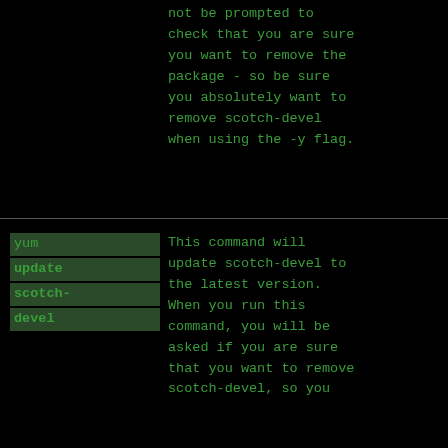not be prompted to check that you are sure you want to remove the package - so be sure you absolutely want to remove scotch-devel when using the -y flag.
yum update scotch-devel
This command will update scotch-devel to the latest version. When you run this command, you will be asked if you are sure that you want to remove scotch-devel, so you